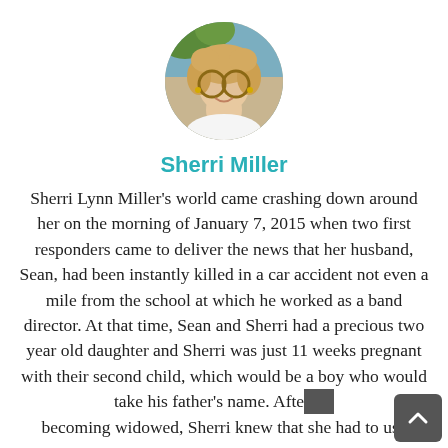[Figure (photo): Circular profile photo of Sherri Miller, a woman with blonde curly hair wearing round sunglasses, smiling outdoors]
Sherri Miller
Sherri Lynn Miller's world came crashing down around her on the morning of January 7, 2015 when two first responders came to deliver the news that her husband, Sean, had been instantly killed in a car accident not even a mile from the school at which he worked as a band director. At that time, Sean and Sherri had a precious two year old daughter and Sherri was just 11 weeks pregnant with their second child, which would be a boy who would take his father's name. After becoming widowed, Sherri knew that she had to use